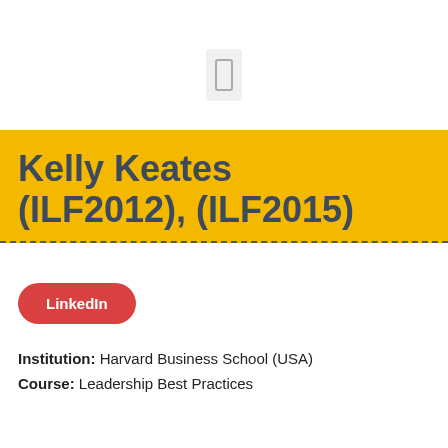[Figure (other): Small icon/symbol box centered near top of page]
Kelly Keates (ILF2012), (ILF2015)
LinkedIn
Institution: Harvard Business School (USA)
Course: Leadership Best Practices